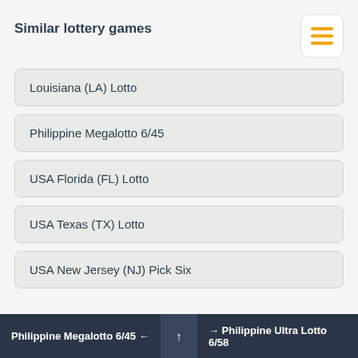Similar lottery games
Louisiana (LA) Lotto
Philippine Megalotto 6/45
USA Florida (FL) Lotto
USA Texas (TX) Lotto
USA New Jersey (NJ) Pick Six
Philippine Megalotto 6/45 ← ↑ → Philippine Ultra Lotto 6/58